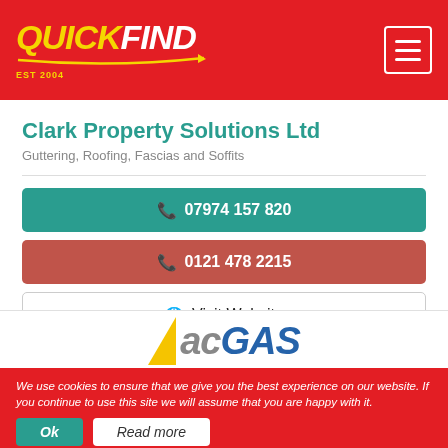QuickFind EST 2004
Clark Property Solutions Ltd
Guttering, Roofing, Fascias and Soffits
📞 07974 157 820
📞 0121 478 2215
🌐 Visit Website
[Figure (logo): acGAS logo with yellow triangle and blue italic text]
We use cookies to ensure that we give you the best experience on our website. If you continue to use this site we will assume that you are happy with it.
Ok
Read more